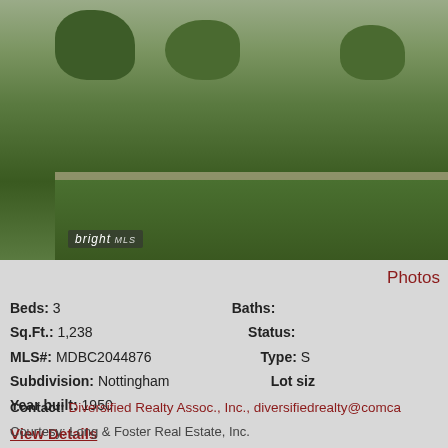[Figure (photo): Exterior photo of a residential house with trimmed shrubs and green lawn in the foreground. 'bright MLS' watermark in lower left corner.]
Photos
Beds: 3
Baths:
Sq.Ft.: 1,238
Status:
MLS#: MDBC2044876
Type: S
Subdivision: Nottingham
Lot siz
Year built: 1950
View Details
Contact: Diversified Realty Assoc., Inc., diversifiedrealty@comca
Courtesy: Long & Foster Real Estate, Inc.